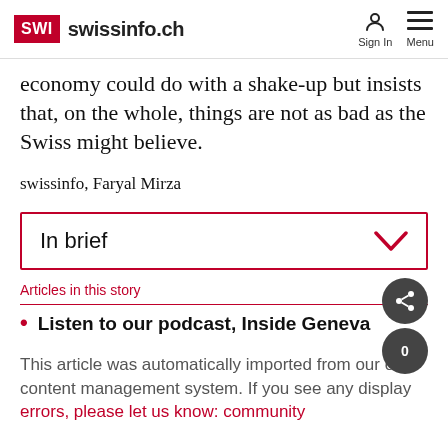SWI swissinfo.ch | Sign In | Menu
economy could do with a shake-up but insists that, on the whole, things are not as bad as the Swiss might believe.
swissinfo, Faryal Mirza
In brief
Articles in this story
Listen to our podcast, Inside Geneva
This article was automatically imported from our old content management system. If you see any display errors, please let us know: community